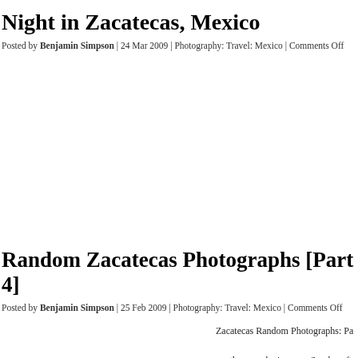Night in Zacatecas, Mexico
Posted by Benjamin Simpson | 24 Mar 2009 | Photography: Travel: Mexico | Comments Off
read more »
Random Zacatecas Photographs [Part 4]
Posted by Benjamin Simpson | 25 Feb 2009 | Photography: Travel: Mexico | Comments Off
Zacatecas Random Photographs: Pa... gentleman relaxing on a Sunday afte...